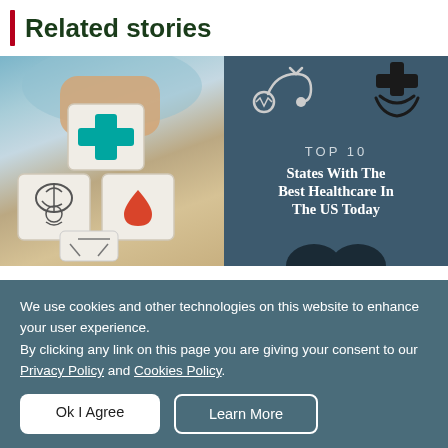Related stories
[Figure (photo): Left half: Photo of hands stacking wooden blocks with healthcare icons (medical cross, brain, blood drop, etc.) on a blue background. Right half: Dark blue-grey infographic with stethoscope and medical cross icons, text reading 'TOP 10 States With The Best Healthcare In The US Today']
We use cookies and other technologies on this website to enhance your user experience.
By clicking any link on this page you are giving your consent to our Privacy Policy and Cookies Policy.
Ok I Agree    Learn More